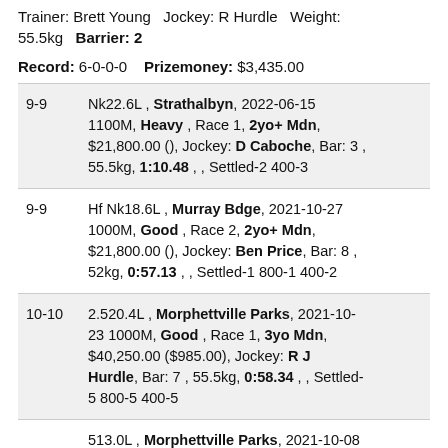Trainer: Brett Young  Jockey: R Hurdle  Weight: 55.5kg  Barrier: 2
Record: 6-0-0-0  Prizemoney: $3,435.00
| Pos | Race Details |
| --- | --- |
| 9-9 | Nk22.6L , Strathalbyn, 2022-06-15 1100M, Heavy , Race 1, 2yo+ Mdn, $21,800.00 (), Jockey: D Caboche, Bar: 3 , 55.5kg, 1:10.48 , , Settled-2 400-3 |
| 9-9 | Hf Nk18.6L , Murray Bdge, 2021-10-27 1000M, Good , Race 2, 2yo+ Mdn, $21,800.00 (), Jockey: Ben Price, Bar: 8 , 52kg, 0:57.13 , , Settled-1 800-1 400-2 |
| 10-10 | 2.520.4L , Morphettville Parks, 2021-10-23 1000M, Good , Race 1, 3yo Mdn, $40,250.00 ($985.00), Jockey: R J Hurdle, Bar: 7 , 55.5kg, 0:58.34 , , Settled-5 800-5 400-5 |
|  | 513.0L , Morphettville Parks, 2021-10-08 |